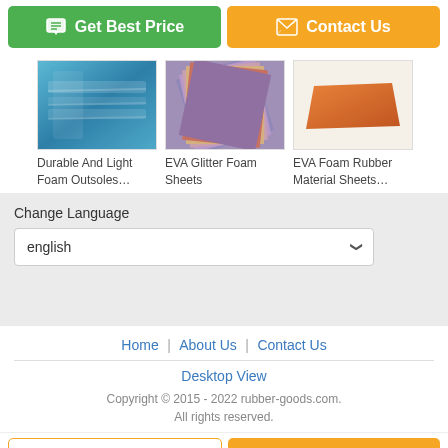Get Best Price
Contact Us
[Figure (photo): Blue foam material product image]
Durable And Light Foam Outsoles…
[Figure (photo): EVA Glitter Foam Sheets product image - colorful layered sheets]
EVA Glitter Foam Sheets
[Figure (photo): EVA Foam Rubber Material Sheets - orange flat sheet]
EVA Foam Rubber Material Sheets…
Change Language
english
Home | About Us | Contact Us
Desktop View
Copyright © 2015 - 2022 rubber-goods.com. All rights reserved.
Chat Now
Request A Quote